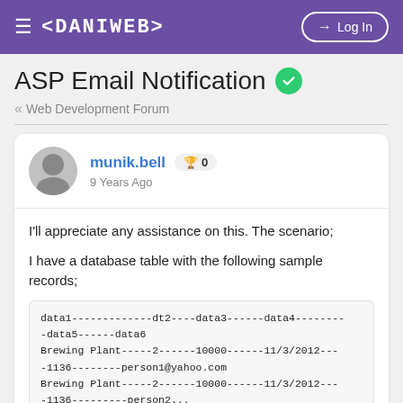≡ <DANIWEB>   ➜ Log In
ASP Email Notification ✓
« Web Development Forum
munik.bell 🏆 0
9 Years Ago
I'll appreciate any assistance on this. The scenario;
I have a database table with the following sample records;
data1-------------dt2----data3------data4--------data5------data6
Brewing Plant-----2------10000------11/3/2012----1136--------person1@yahoo.com
Brewing Plant-----2------10000------11/3/2012---